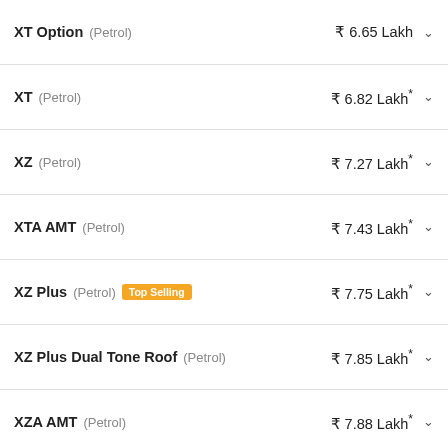XT Option (Petrol) ₹ 6.65 Lakh
XT (Petrol) ₹ 6.82 Lakh*
XZ (Petrol) ₹ 7.27 Lakh*
XTA AMT (Petrol) ₹ 7.43 Lakh*
XZ Plus (Petrol) Top Selling ₹ 7.75 Lakh*
XZ Plus Dual Tone Roof (Petrol) ₹ 7.85 Lakh*
XZA AMT (Petrol) ₹ 7.88 Lakh*
XZA Plus AMT (Petrol) ₹ 8.36 Lakh*
XZA Plus Dual Tone Roof AMT (Petrol) ₹ 8.46 Lakh*